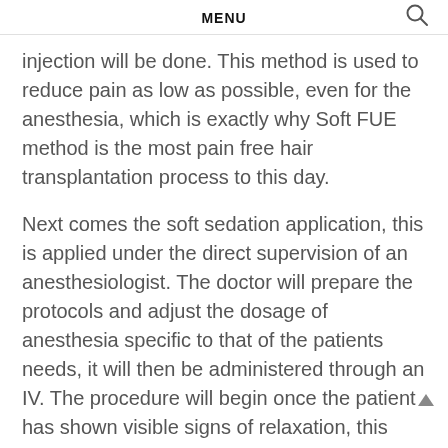MENU
injection will be done. This method is used to reduce pain as low as possible, even for the anesthesia, which is exactly why Soft FUE method is the most pain free hair transplantation process to this day.
Next comes the soft sedation application, this is applied under the direct supervision of an anesthesiologist. The doctor will prepare the protocols and adjust the dosage of anesthesia specific to that of the patients needs, it will then be administered through an IV. The procedure will begin once the patient has shown visible signs of relaxation, this process typically takes a few minutes to complete.